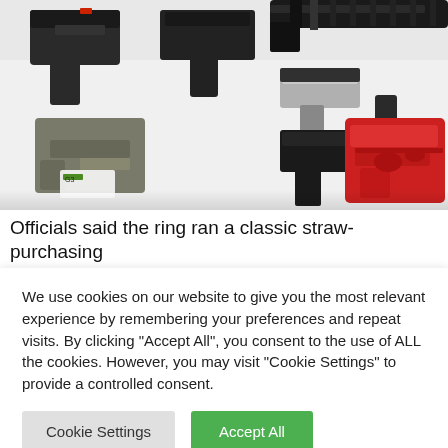[Figure (photo): Overhead view of multiple firearms including pistols and rifle components/lower receivers on a white surface. A red lower receiver is visible on the right side.]
Officials said the ring ran a classic straw-purchasing
We use cookies on our website to give you the most relevant experience by remembering your preferences and repeat visits. By clicking “Accept All”, you consent to the use of ALL the cookies. However, you may visit "Cookie Settings" to provide a controlled consent.